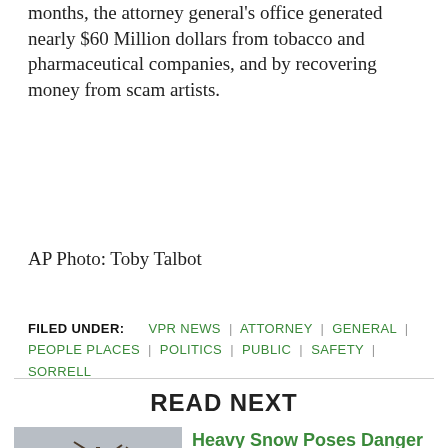months, the attorney general's office generated nearly $60 Million dollars from tobacco and pharmaceutical companies, and by recovering money from scam artists.
AP Photo: Toby Talbot
FILED UNDER: VPR NEWS | ATTORNEY | GENERAL | PEOPLE PLACES | POLITICS | PUBLIC | SAFETY | SORRELL
READ NEXT
Heavy Snow Poses Danger For Farmers, Homeowners